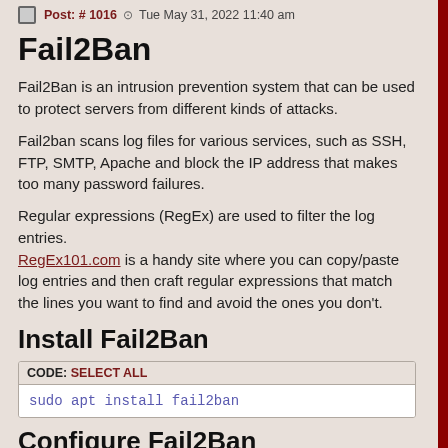Post: # 1016  Tue May 31, 2022 11:40 am
Fail2Ban
Fail2Ban is an intrusion prevention system that can be used to protect servers from different kinds of attacks.
Fail2ban scans log files for various services, such as SSH, FTP, SMTP, Apache and block the IP address that makes too many password failures.
Regular expressions (RegEx) are used to filter the log entries. RegEx101.com is a handy site where you can copy/paste log entries and then craft regular expressions that match the lines you want to find and avoid the ones you don't.
Install Fail2Ban
CODE: SELECT ALL
sudo apt install fail2ban
Configure Fail2Ban
The default configuration file should not be altered since upgrades tend to overwrite this file with new settings.